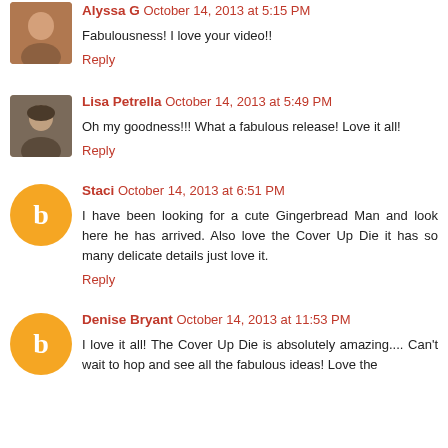Alyssa G  October 14, 2013 at 5:15 PM
Fabulousness! I love your video!!
Reply
Lisa Petrella  October 14, 2013 at 5:49 PM
Oh my goodness!!! What a fabulous release! Love it all!
Reply
Staci  October 14, 2013 at 6:51 PM
I have been looking for a cute Gingerbread Man and look here he has arrived. Also love the Cover Up Die it has so many delicate details just love it.
Reply
Denise Bryant  October 14, 2013 at 11:53 PM
I love it all! The Cover Up Die is absolutely amazing.... Can't wait to hop and see all the fabulous ideas! Love the